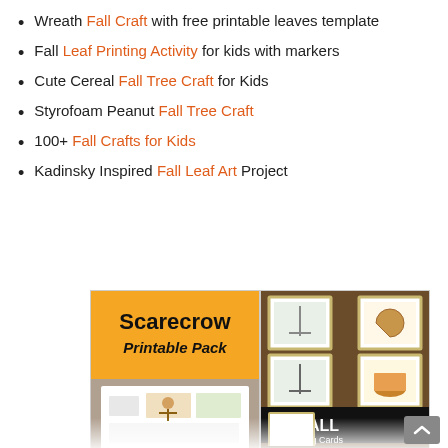Wreath Fall Craft with free printable leaves template
Fall Leaf Printing Activity for kids with markers
Cute Cereal Fall Tree Craft for Kids
Styrofoam Peanut Fall Tree Craft
100+ Fall Crafts for Kids
Kadinsky Inspired Fall Leaf Art Project
[Figure (photo): Scarecrow Printable Pack educational activity pack cover showing orange background with bold black text 'Scarecrow Printable Pack' and worksheets below]
[Figure (photo): Free Fall Sequencing Cards showing illustrated cards with rakes, pumpkins, and baskets arranged on dark wood background with black banner text 'free FALL Sequencing Cards']